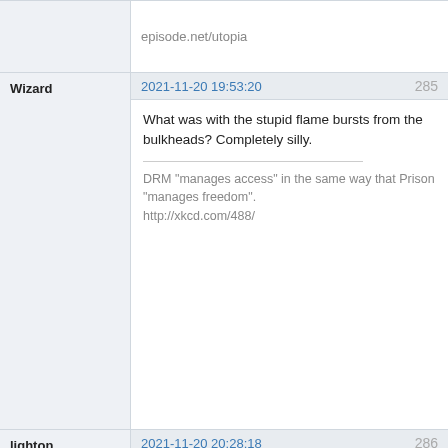episode.net/utopia
Wizard
2021-11-20 19:53:20
285
What was with the stupid flame bursts from the bulkheads? Completely silly.
DRM "manages access" in the same way that Prison "manages freedom".
http://xkcd.com/488/
Website
lighton
2021-11-20 20:28:18
286
Wizard wrote: What was with the stupid flame bursts from the bulkheads? Completely silly.